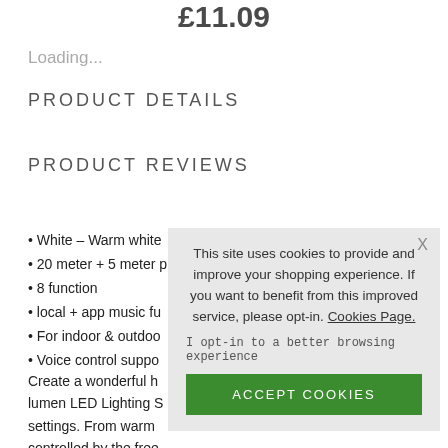£11.09
Loading...
PRODUCT DETAILS
PRODUCT REVIEWS
• White – Warm white
• 20 meter + 5 meter p
• 8 function
• local + app music fu
• For indoor & outdoo
• Voice control suppo
Create a wonderful h... lumen LED Lighting S... settings. From warm... controlled by the free... Assistant and Amazon Alexa.
[Figure (screenshot): Cookie consent overlay with text: 'This site uses cookies to provide and improve your shopping experience. If you want to benefit from this improved service, please opt-in. Cookies Page.' with opt-in text and green ACCEPT COOKIES button.]